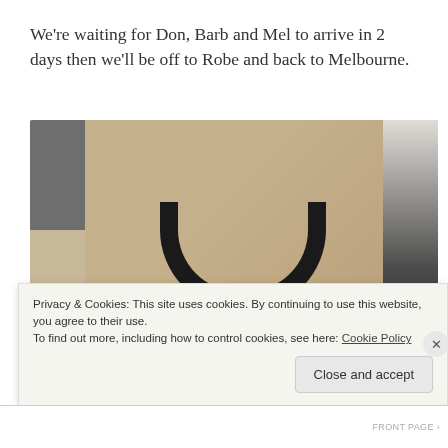We're waiting for Don, Barb and Mel to arrive in 2 days then we'll be off to Robe and back to Melbourne.
[Figure (photo): A photo taken from above showing a tan/cardboard surface with a dark black cable coiled on it, a grey textured surface on the left, and dark objects on the right with a yellow label tag visible.]
Privacy & Cookies: This site uses cookies. By continuing to use this website, you agree to their use.
To find out more, including how to control cookies, see here: Cookie Policy
Close and accept